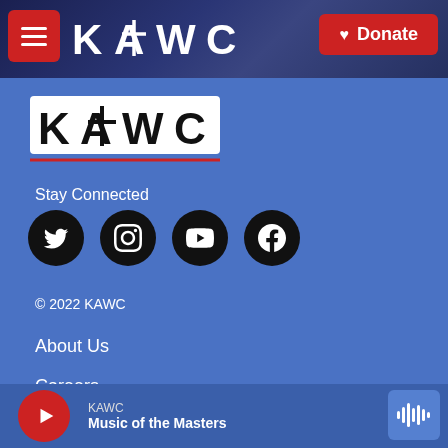KAWC
[Figure (logo): KAWC radio station logo with cross symbol and red underline]
Stay Connected
[Figure (infographic): Social media icons row: Twitter, Instagram, YouTube, Facebook]
© 2022 KAWC
About Us
Careers
Contact
KAWC — Music of the Masters